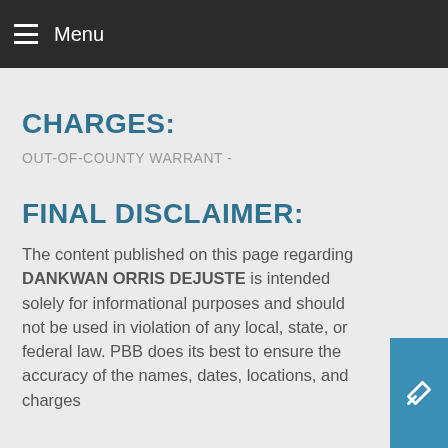Menu
CHARGES:
OUT-OF-COUNTY WARRANT -
FINAL DISCLAIMER:
The content published on this page regarding DANKWAN ORRIS DEJUSTE is intended solely for informational purposes and should not be used in violation of any local, state, or federal law. PBB does its best to ensure the accuracy of the names, dates, locations, and charges